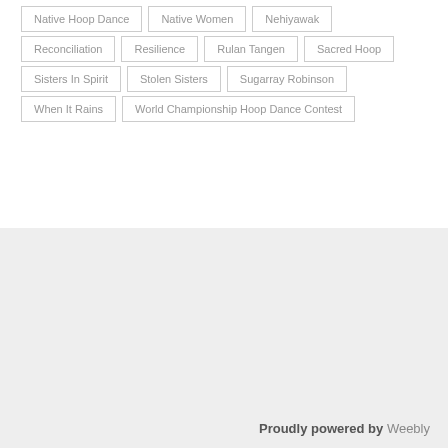Native Hoop Dance
Native Women
Nehiyawak
Reconciliation
Resilience
Rulan Tangen
Sacred Hoop
Sisters In Spirit
Stolen Sisters
Sugarray Robinson
When It Rains
World Championship Hoop Dance Contest
Proudly powered by Weebly